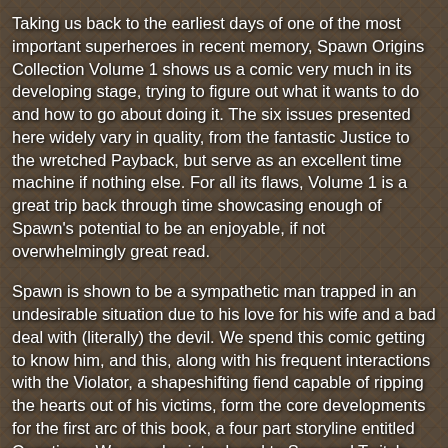[Figure (illustration): Collage of comic book covers (Marvel and other superhero comics) forming a busy, colorful background behind the text]
Taking us back to the earliest days of one of the most important superheroes in recent memory, Spawn Origins Collection Volume 1 shows us a comic very much in its developing stage, trying to figure out what it wants to do and how to go about doing it. The six issues presented here widely vary in quality, from the fantastic Justice to the wretched Payback, but serve as an excellent time machine if nothing else. For all its flaws, Volume 1 is a great trip back through time showcasing enough of Spawn's potential to be an enjoyable, if not overwhelmingly great read.
Spawn is shown to be a sympathetic man trapped in an undesirable situation due to his love for his wife and a bad deal with (literally) the devil. We spend this comic getting to know him, and this, along with his frequent interactions with the Violator, a shapeshifting fiend capable of ripping the hearts out of his victims, form the core developments for the first arc of this book, a four part storyline entitled Questions. We are also introduced to Sam and Twitch, two unorthodox police detectives who will likely end up serving as Spawn's version of Commissioner Jim Gordon sometime in the next